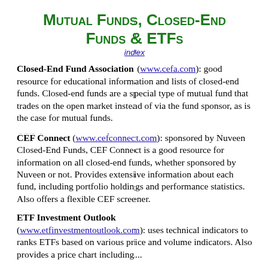Mutual Funds, Closed-End Funds & ETFs
index
Closed-End Fund Association (www.cefa.com): good resource for educational information and lists of closed-end funds. Closed-end funds are a special type of mutual fund that trades on the open market instead of via the fund sponsor, as is the case for mutual funds.
CEF Connect (www.cefconnect.com): sponsored by Nuveen Closed-End Funds, CEF Connect is a good resource for information on all closed-end funds, whether sponsored by Nuveen or not. Provides extensive information about each fund, including portfolio holdings and performance statistics. Also offers a flexible CEF screener.
ETF Investment Outlook (www.etfinvestmentoutlook.com): uses technical indicators to ranks ETFs based on various price and volume indicators. Also provides a price chart including...